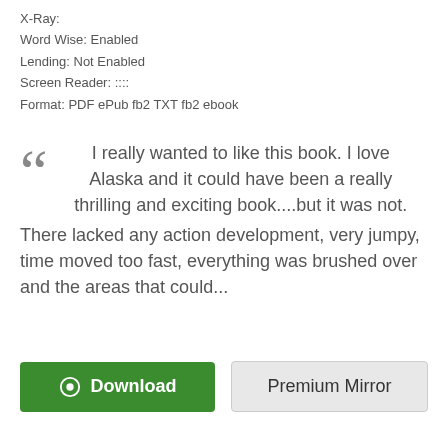X-Ray:
Word Wise: Enabled
Lending: Not Enabled
Screen Reader: ::::
Format: PDF ePub fb2 TXT fb2 ebook
I really wanted to like this book. I love Alaska and it could have been a really thrilling and exciting book....but it was not. There lacked any action development, very jumpy, time moved too fast, everything was brushed over and the areas that could...
[Figure (other): Download button (green) and Premium Mirror button (grey)]